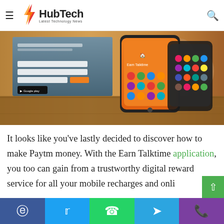HubTech — Latest Technology News
[Figure (screenshot): Hero banner showing Earn Talktime app website and mobile phone with orange app interface on a wooden surface background.]
It looks like you've lastly decided to discover how to make Paytm money. With the Earn Talktime application, you too can gain from a trustworthy digital reward service for all your mobile recharges and onli…